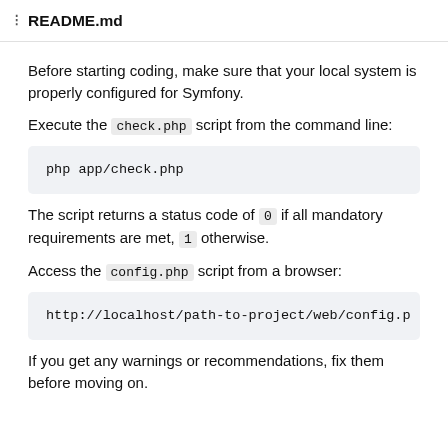README.md
Before starting coding, make sure that your local system is properly configured for Symfony.
Execute the check.php script from the command line:
php app/check.php
The script returns a status code of 0 if all mandatory requirements are met, 1 otherwise.
Access the config.php script from a browser:
http://localhost/path-to-project/web/config.p
If you get any warnings or recommendations, fix them before moving on.